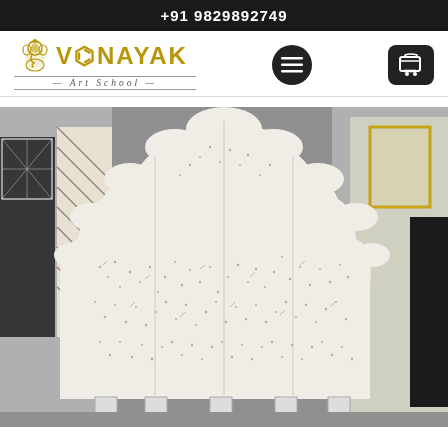+91 9829892749
[Figure (logo): Vinayak Art School logo with Ganesha icon and stylized text]
[Figure (photo): A white decorative bed headboard with intricate floral bone inlay mosaic pattern and scalloped top edge, displayed in an art workshop setting with various decorative panels in the background]